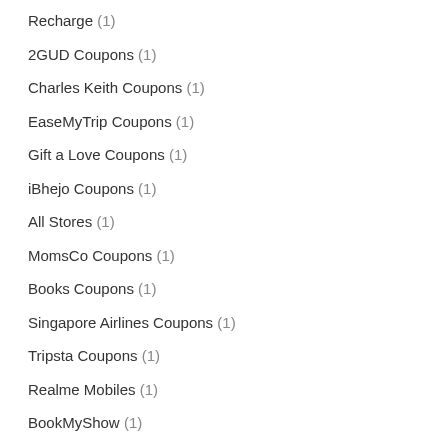Recharge (1)
2GUD Coupons (1)
Charles Keith Coupons (1)
EaseMyTrip Coupons (1)
Gift a Love Coupons (1)
iBhejo Coupons (1)
All Stores (1)
MomsCo Coupons (1)
Books Coupons (1)
Singapore Airlines Coupons (1)
Tripsta Coupons (1)
Realme Mobiles (1)
BookMyShow (1)
Lifestyle coupons (1)
Sasti ticket coupons (1)
Adidas Coupons (1)